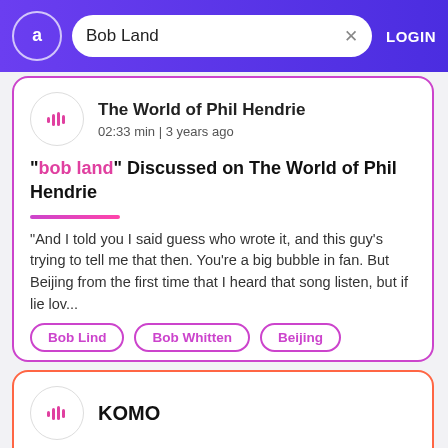Bob Land | LOGIN
The World of Phil Hendrie
02:33 min | 3 years ago
"bob land" Discussed on The World of Phil Hendrie
"And I told you I said guess who wrote it, and this guy's trying to tell me that then. You're a big bubble in fan. But Beijing from the first time that I heard that song listen, but if lie lov...
Bob Lind
Bob Whitten
Beijing
KOMO